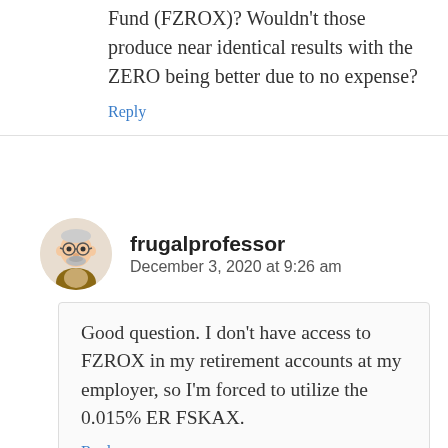Fund (FZROX)? Wouldn't those produce near identical results with the ZERO being better due to no expense?
Reply
frugalprofessor
December 3, 2020 at 9:26 am
Good question. I don't have access to FZROX in my retirement accounts at my employer, so I'm forced to utilize the 0.015% ER FSKAX.
Reply